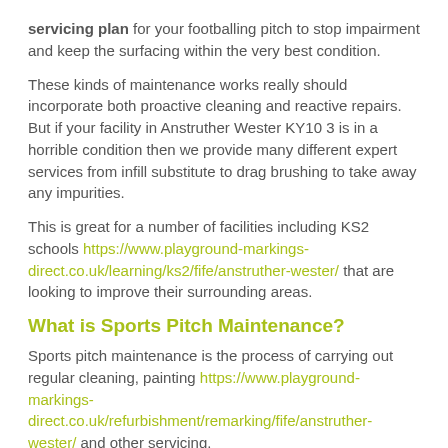servicing plan for your footballing pitch to stop impairment and keep the surfacing within the very best condition.
These kinds of maintenance works really should incorporate both proactive cleaning and reactive repairs. But if your facility in Anstruther Wester KY10 3 is in a horrible condition then we provide many different expert services from infill substitute to drag brushing to take away any impurities.
This is great for a number of facilities including KS2 schools https://www.playground-markings-direct.co.uk/learning/ks2/fife/anstruther-wester/ that are looking to improve their surrounding areas.
What is Sports Pitch Maintenance?
Sports pitch maintenance is the process of carrying out regular cleaning, painting https://www.playground-markings-direct.co.uk/refurbishment/remarking/fife/anstruther-wester/ and other servicing.
It is important to carry out sports pitch maintenance if you want to